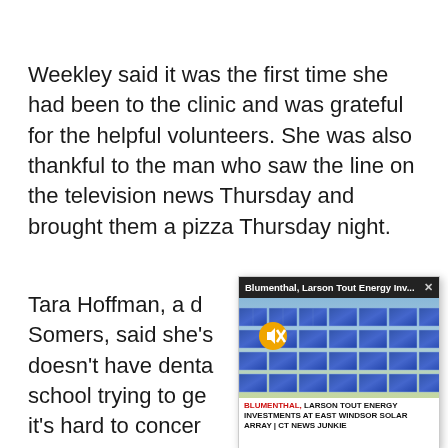Weekley said it was the first time she had been to the clinic and was grateful for the helpful volunteers. She was also thankful to the man who saw the line on the television news Thursday and brought them a pizza Thursday night.
Tara Hoffman, a d... Somers, said she's... doesn't have denta... school trying to ge... it's hard to concer... all the time."
[Figure (screenshot): A video overlay card showing solar panels with title 'Blumenthal, Larson Tout Energy Inv...' and caption 'BLUMENTHAL, LARSON TOUT ENERGY INVESTMENTS AT EAST WINDSOR SOLAR ARRAY | CT NEWS JUNKIE'. A mute button icon is visible on the image.]